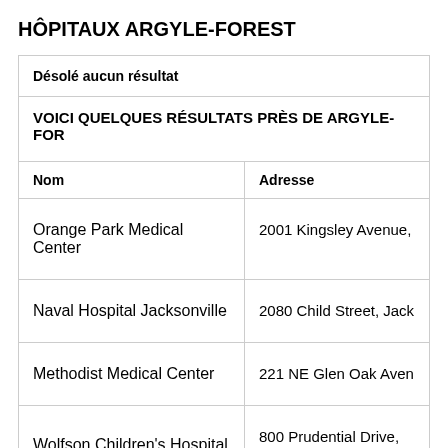HÔPITAUX ARGYLE-FOREST
| Nom | Adresse |
| --- | --- |
| Orange Park Medical Center | 2001 Kingsley Avenue, |
| Naval Hospital Jacksonville | 2080 Child Street, Jack |
| Methodist Medical Center | 221 NE Glen Oak Aven |
| Wolfson Children's Hospital | 800 Prudential Drive, Ja |